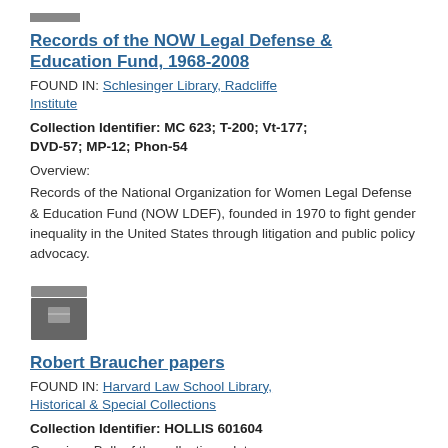[Figure (other): Small grey archive/box icon at top]
Records of the NOW Legal Defense & Education Fund, 1968-2008
FOUND IN: Schlesinger Library, Radcliffe Institute
Collection Identifier: MC 623; T-200; Vt-177; DVD-57; MP-12; Phon-54
Overview:
Records of the National Organization for Women Legal Defense & Education Fund (NOW LDEF), founded in 1970 to fight gender inequality in the United States through litigation and public policy advocacy.
[Figure (other): Grey archive box icon]
Robert Braucher papers
FOUND IN: Harvard Law School Library, Historical & Special Collections
Collection Identifier: HOLLIS 601604
Overview: Bulk of the collection relates